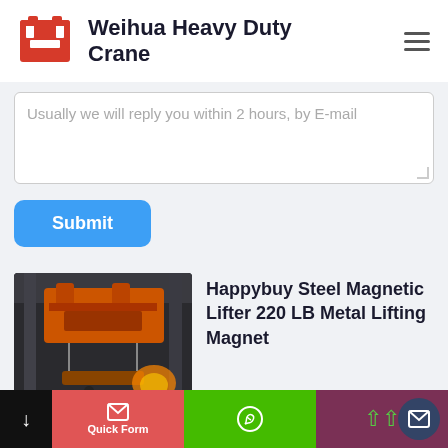Weihua Heavy Duty Crane
Usually we will reply you within 2 hours, by E-mail
Submit
Happybuy Steel Magnetic Lifter 220 LB Metal Lifting Magnet
[Figure (photo): Industrial overhead crane with orange structure in a steel mill or heavy manufacturing facility]
Quick Form | WhatsApp | Scroll Up | Contact